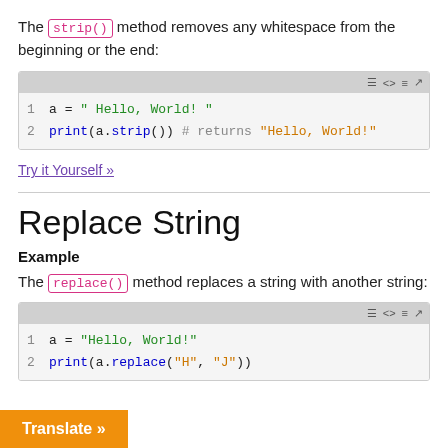The strip() method removes any whitespace from the beginning or the end:
[Figure (screenshot): Code box showing: 1  a = " Hello, World! "  2  print(a.strip()) # returns "Hello, World!"]
Try it Yourself »
Replace String
Example
The replace() method replaces a string with another string:
[Figure (screenshot): Code box showing: 1  a = "Hello, World!"  2  print(a.replace("H", "J"))]